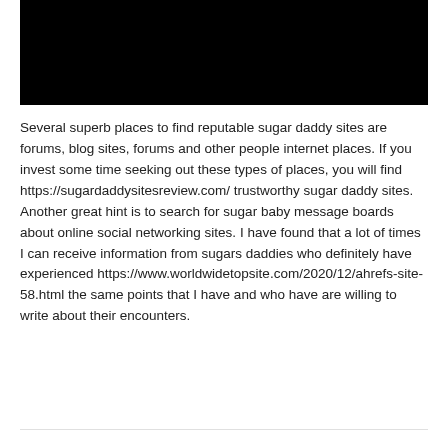[Figure (photo): Black rectangular image at top of page]
Several superb places to find reputable sugar daddy sites are forums, blog sites, forums and other people internet places. If you invest some time seeking out these types of places, you will find https://sugardaddysitesreview.com/ trustworthy sugar daddy sites. Another great hint is to search for sugar baby message boards about online social networking sites. I have found that a lot of times I can receive information from sugars daddies who definitely have experienced https://www.worldwidetopsite.com/2020/12/ahrefs-site-58.html the same points that I have and who have are willing to write about their encounters.